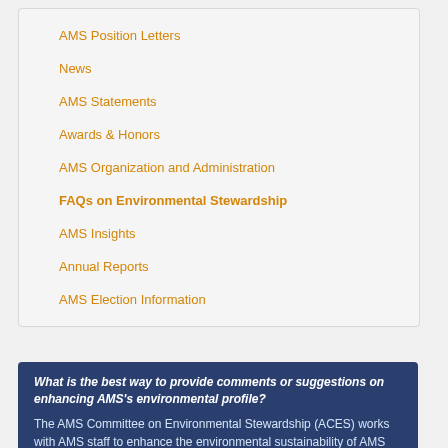AMS Position Letters
News
AMS Statements
Awards & Honors
AMS Organization and Administration
FAQs on Environmental Stewardship
AMS Insights
Annual Reports
AMS Election Information
What is the best way to provide comments or suggestions on enhancing AMS's environmental profile?
The AMS Committee on Environmental Stewardship (ACES) works with AMS staff to enhance the environmental sustainability of AMS activities and to reduce their